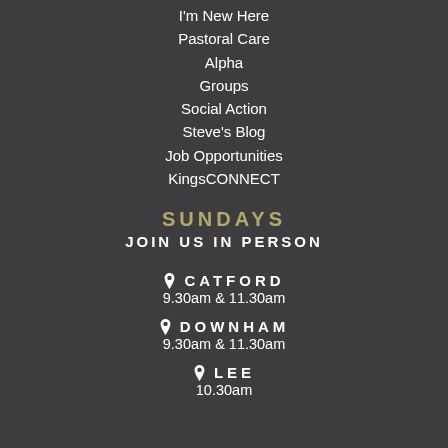I'm New Here
Pastoral Care
Alpha
Groups
Social Action
Steve's Blog
Job Opportunities
KingsCONNECT
SUNDAYS
JOIN US IN PERSON
📍 CATFORD
9.30am & 11.30am
📍 DOWNHAM
9.30am & 11.30am
📍 LEE
10.30am